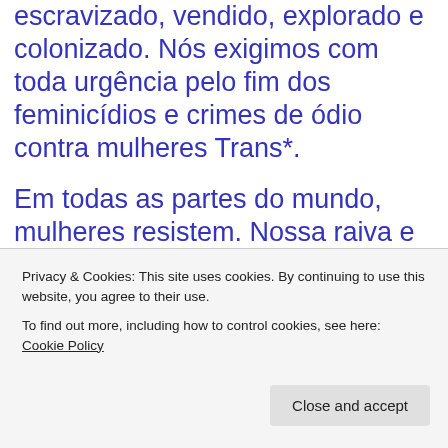escravizado, vendido, explorado e colonizado. Nós exigimos com toda urgência pelo fim dos feminicídios e crimes de ódio contra mulheres Trans*.
Em todas as partes do mundo, mulheres resistem. Nossa raiva e nossa resistência coletiva, nossos sonhos e nossas esperanças fortalecem a luta internacional das mulheres.
Vamos às ruas no 8 de março, dia...
Privacy & Cookies: This site uses cookies. By continuing to use this website, you agree to their use.
To find out more, including how to control cookies, see here: Cookie Policy
Close and accept